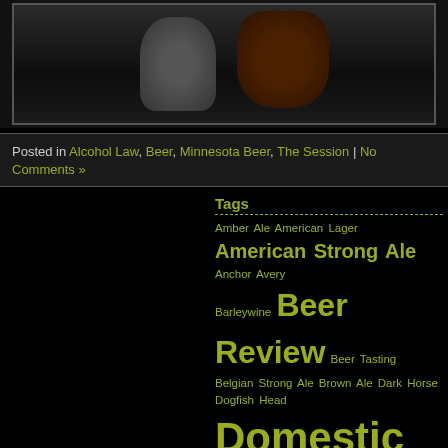[Figure (photo): Photo of beer glasses on a dark surface]
Posted in Alcohol Law, Beer, Minnesota Beer, The Session | No Comments »
Tags
Amber Ale American Lager American Strong Ale Anchor Avery Barleywine Beer Review Beer Tasting Belgian Strong Ale Brown Ale Dark Horse Dogfish Head Domestic Beer Flying Dog Fruit Beer Full Sail Great Divide Hard Cider He'Brew Imperial IPA Imperial Stout Imported Beer